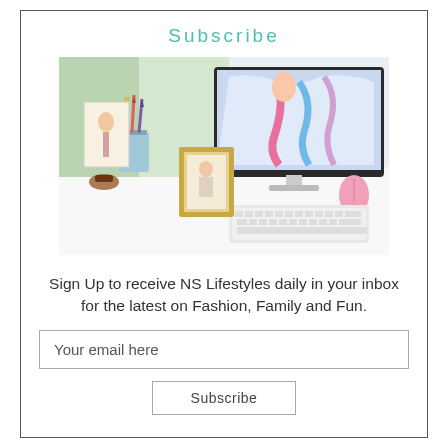Subscribe
[Figure (photo): A styled desk workspace showing a computer monitor displaying colorful fashion illustrations, art supplies in a cup, a gold ornate picture frame with a sketch inside, a white keyboard, and a pink mouse on a white desk surface.]
Sign Up to receive NS Lifestyles daily in your inbox for the latest on Fashion, Family and Fun.
Your email here
Subscribe